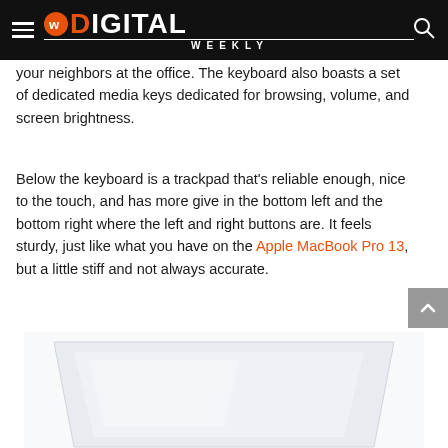Digital Weekly
your neighbors at the office. The keyboard also boasts a set of dedicated media keys dedicated for browsing, volume, and screen brightness.
Below the keyboard is a trackpad that's reliable enough, nice to the touch, and has more give in the bottom left and the bottom right where the left and right buttons are. It feels sturdy, just like what you have on the Apple MacBook Pro 13, but a little stiff and not always accurate.
[Figure (photo): Laptop computer shown from above at an angle, white/light blue background, showing the top of the laptop lid]